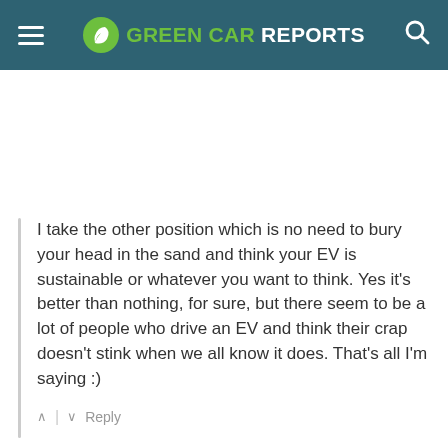GREEN CAR REPORTS
I take the other position which is no need to bury your head in the sand and think your EV is sustainable or whatever you want to think. Yes it's better than nothing, for sure, but there seem to be a lot of people who drive an EV and think their crap doesn't stink when we all know it does. That's all I'm saying :)